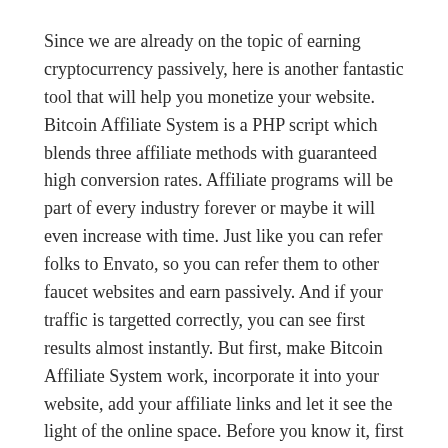Since we are already on the topic of earning cryptocurrency passively, here is another fantastic tool that will help you monetize your website. Bitcoin Affiliate System is a PHP script which blends three affiliate methods with guaranteed high conversion rates. Affiliate programs will be part of every industry forever or maybe it will even increase with time. Just like you can refer folks to Envato, so you can refer them to other faucet websites and earn passively. And if your traffic is targetted correctly, you can see first results almost instantly. But first, make Bitcoin Affiliate System work, incorporate it into your website, add your affiliate links and let it see the light of the online space. Before you know it, first commissions hit your account without doing much promotion.